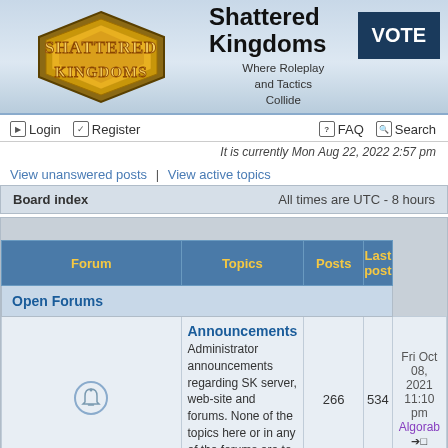[Figure (logo): Shattered Kingdoms fantasy game logo with golden text on diamond shaped background]
Shattered Kingdoms
Where Roleplay and Tactics Collide
VOTE
Login   Register   FAQ   Search
It is currently Mon Aug 22, 2022 2:57 pm
View unanswered posts | View active topics
| Board index | All times are UTC - 8 hours |
| --- | --- |
| Forum | Topics | Posts | Last post |
| --- | --- | --- | --- |
| Open Forums |  |  |  |
| Announcements
Administrator announcements regarding SK server, web-site and forums. None of the topics here or in any of the forums are to be considered in | 266 | 534 | Fri Oct 08, 2021 11:10 pm
Algorab |